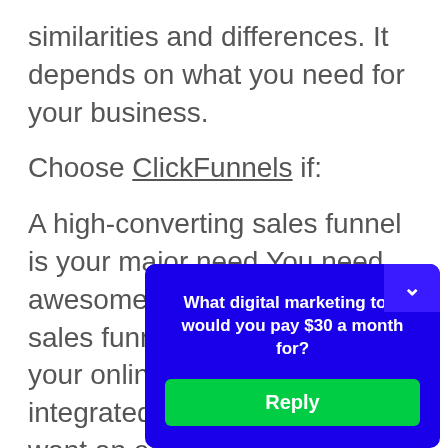similarities and differences. It depends on what you need for your business.
Choose ClickFunnels if:
A high-converting sales funnel is your major need.You need awesome templates for your sales funnel.All you want for your online business is an integrated sales pipeline.You want an extensive digital marketing knowledgebase.You prefer to make a call to get support.
Choose
[Figure (screenshot): Blue popup dialog box with white bold text 'What digital marketing tool would you pay $30 a month for?' and a green 'Reply' button. A close chevron button is in the top right corner of the popup.]